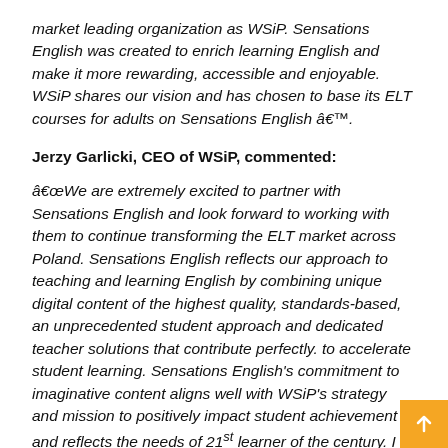market leading organization as WSiP. Sensations English was created to enrich learning English and make it more rewarding, accessible and enjoyable. WSiP shares our vision and has chosen to base its ELT courses for adults on Sensations English â€™.
Jerzy Garlicki, CEO of WSiP, commented:
â€œWe are extremely excited to partner with Sensations English and look forward to working with them to continue transforming the ELT market across Poland. Sensations English reflects our approach to teaching and learning English by combining unique digital content of the highest quality, standards-based, an unprecedented student approach and dedicated teacher solutions that contribute perfectly. to accelerate student learning. Sensations English's commitment to imaginative content aligns well with WSiP's strategy and mission to positively impact student achievement and reflects the needs of 21st learner of the century. I am sure that the